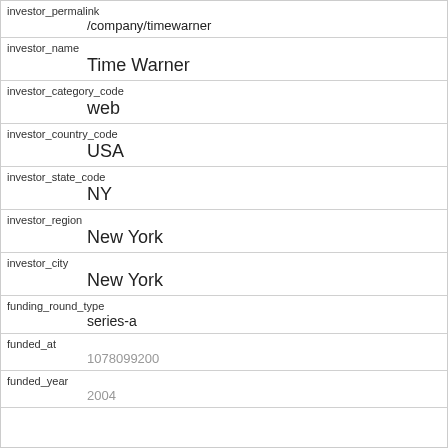| Field | Value |
| --- | --- |
| investor_permalink | /company/timewarner |
| investor_name | Time Warner |
| investor_category_code | web |
| investor_country_code | USA |
| investor_state_code | NY |
| investor_region | New York |
| investor_city | New York |
| funding_round_type | series-a |
| funded_at | 1078099200 |
| funded_year | 2004 |